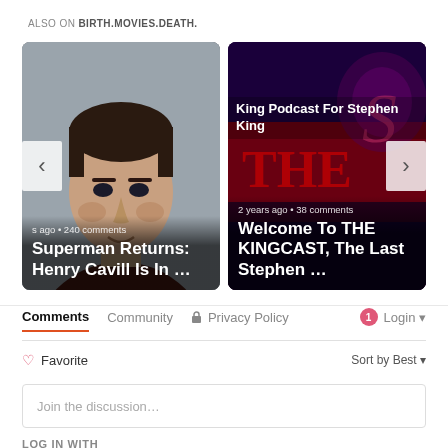ALSO ON BIRTH.MOVIES.DEATH.
[Figure (photo): Article card 1: Image of man (Henry Cavill as Superman) with overlay text 'Superman Returns: Henry Cavill Is In …' and meta 's ago • 240 comments']
[Figure (photo): Article card 2: Dark red/purple background with large movie title text 'King Podcast For Stephen King' overlay and article title 'Welcome To THE KINGCAST, The Last Stephen …' with meta '2 years ago • 38 comments']
Comments	Community	🔒 Privacy Policy	1 Login ▾
♡ Favorite	Sort by Best ▾
Join the discussion…
LOG IN WITH